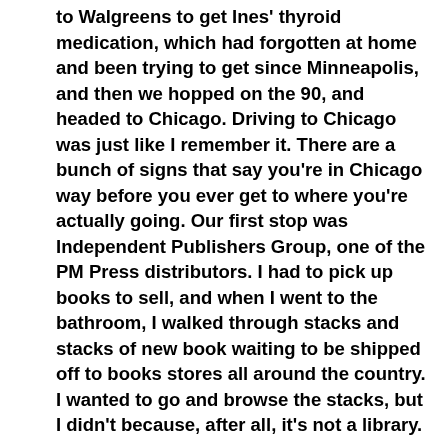to Walgreens to get Ines' thyroid medication, which had forgotten at home and been trying to get since Minneapolis, and then we hopped on the 90, and headed to Chicago. Driving to Chicago was just like I remember it. There are a bunch of signs that say you're in Chicago way before you ever get to where you're actually going. Our first stop was Independent Publishers Group, one of the PM Press distributors. I had to pick up books to sell, and when I went to the bathroom, I walked through stacks and stacks of new book waiting to be shipped off to books stores all around the country. I wanted to go and browse the stacks, but I didn't because, after all, it's not a library.
We got to Martin's apartment in Chicago around 12:30 or 1:00, which gave us lots of time to relax, visit, prepare, and drink wine before the reading. We did realize later that we should have gone and done a bit of sight seeing, but Ines and I took our son to see the